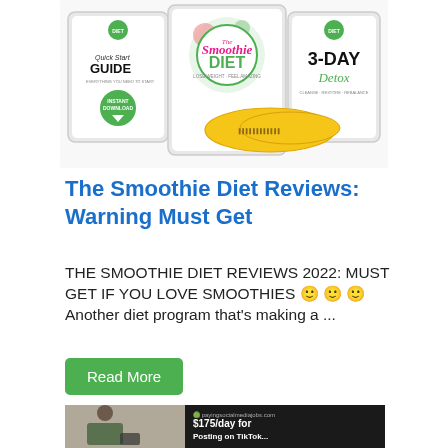[Figure (photo): Promotional image for The Smoothie Diet showing tablet devices with Quick Start Guide, The Smoothie Diet, and 3-Day Detox books, along with a yellow measuring tape on white background]
The Smoothie Diet Reviews: Warning Must Get
THE SMOOTHIE DIET REVIEWS 2022: MUST GET IF YOU LOVE SMOOTHIES 🙂 🙂 🙂 Another diet program that's making a ...
Read More
[Figure (screenshot): Partial image showing a person looking at phone on left and a dark background with text '$175/day for...' from payingsocialmediajobs.com on right]